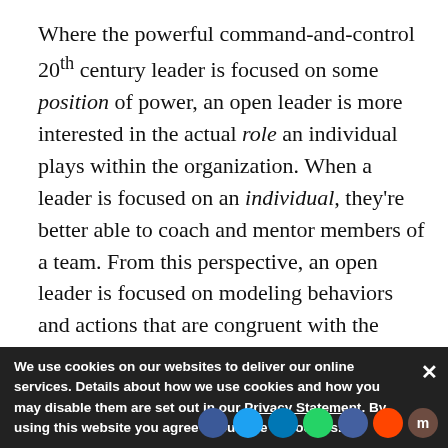Where the powerful command-and-control 20th century leader is focused on some position of power, an open leader is more interested in the actual role an individual plays within the organization. When a leader is focused on an individual, they're better able to coach and mentor members of a team. From this perspective, an open leader is focused on modeling behaviors and actions that are congruent with the organization's vision and mission. In the end, an open leader is very much seen as a member of the team rather than the head of the team. This does not mean the leader...
We use cookies on our websites to deliver our online services. Details about how we use cookies and how you may disable them are set out in our Privacy Statement. By using this website you agree to our use of cookies.